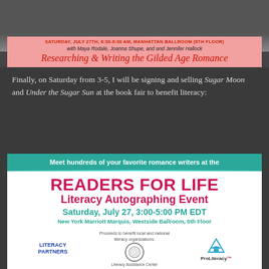[Figure (infographic): Event banner for 'Researching & Writing the Gilded Age Romance' panel with Maya Rodale, Joanna Shupe, and Jennifer Hallock. Saturday, July 27th, 8:30-9:30 AM, Manhattan Ballroom (8th Floor). Pink/red background with decorative script title.]
Finally, on Saturday from 3-5, I will be signing and selling Sugar Moon and Under the Sugar Sun at the book fair to benefit literacy:
[Figure (infographic): Readers for Life Literacy Autographing Event flyer. Teal header bar: 'Meet hundreds of your favorite romance writers at the'. Main content: READERS FOR LIFE in large pink text, Literacy Autographing Event, Saturday July 27 3:00-5:00 PM EDT, New York Marriott Marquis, Westside Ballroom, 5th Floor. Bottom shows logos for Literacy Partners, Literacy Assistance Center, and ProLiteracy with note about proceeds benefiting local and national literacy organizations.]